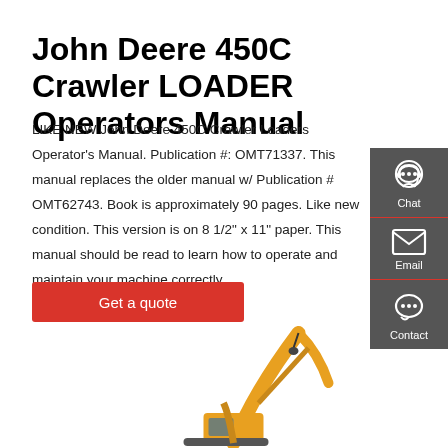John Deere 450C Crawler LOADER Operators Manual
LIKE NEW John Deere 450C Crawler Loaders Operator's Manual. Publication #: OMT71337. This manual replaces the older manual w/ Publication # OMT62743. Book is approximately 90 pages. Like new condition. This version is on 8 1/2" x 11" paper. This manual should be read to learn how to operate and maintain your machine correctly.
Get a quote
[Figure (photo): Yellow John Deere 450C Crawler Loader machine, partial view showing boom arm and cab]